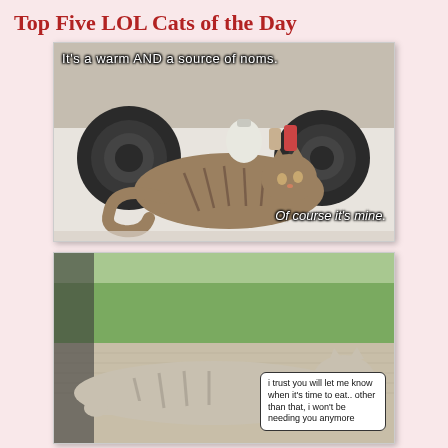Top Five LOL Cats of the Day
[Figure (photo): LOL cat meme: tabby cat lying on a stovetop with text 'It's a warm AND a source of noms. Of course it's mine.']
[Figure (photo): LOL cat meme: cat lying on its side outdoors with speech bubble: 'i trust you will let me know when it's time to eat.. other than that, i won't be needing you anymore']